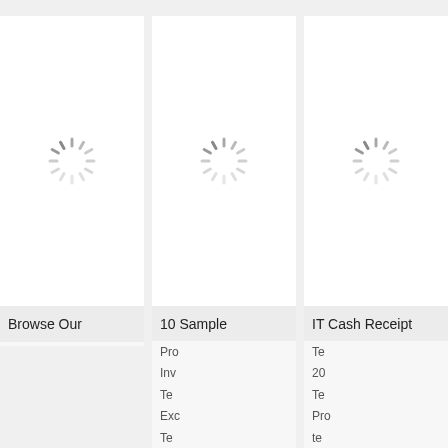[Figure (illustration): Loading spinner icon (rotating dashes circle) in white card panel, column 1]
Browse Our
[Figure (illustration): Loading spinner icon (rotating dashes circle) in white card panel, column 2]
10 Sample
Pro
Inv
Te
Exc
Te
[Figure (illustration): Loading spinner icon (rotating dashes circle) in white card panel, column 3]
IT Cash Receipt
Te
20
Te
Pro
te